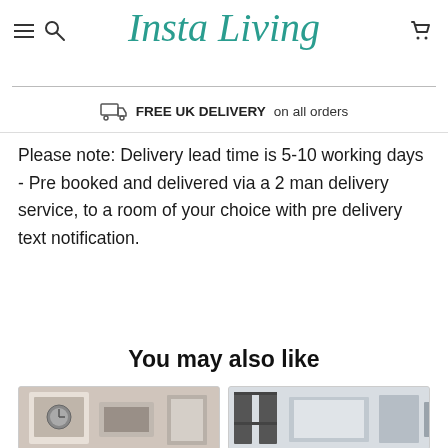Insta Living — navigation header with hamburger menu, search icon, logo, and cart icon
FREE UK DELIVERY on all orders
Please note: Delivery lead time is 5-10 working days - Pre booked and delivered via a 2 man delivery service, to a room of your choice with pre delivery text notification.
You may also like
[Figure (photo): Product photo 1 - furniture item with clock]
[Figure (photo): Product photo 2 - furniture item in industrial style room]